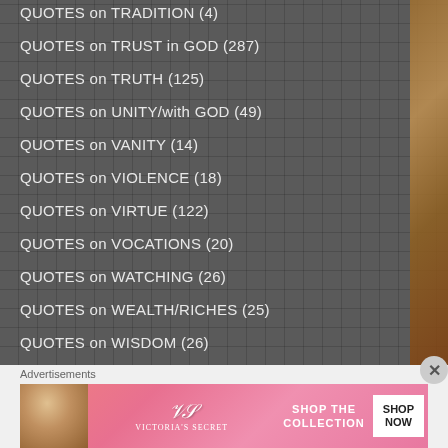QUOTES on TRADITION (4)
QUOTES on TRUST in GOD (287)
QUOTES on TRUTH (125)
QUOTES on UNITY/with GOD (49)
QUOTES on VANITY (14)
QUOTES on VIOLENCE (18)
QUOTES on VIRTUE (122)
QUOTES on VOCATIONS (20)
QUOTES on WATCHING (26)
QUOTES on WEALTH/RICHES (25)
QUOTES on WISDOM (26)
Advertisements
[Figure (photo): Victoria's Secret advertisement banner with a model on the left, VS logo in the center, 'SHOP THE COLLECTION' text, and a 'SHOP NOW' button on the right, on a pink background.]